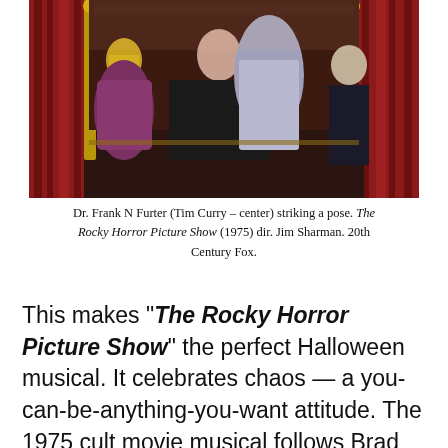[Figure (photo): Stage photo of Dr. Frank N Furter (Tim Curry, center) in glittery costume reclining in a throne-like setting, surrounded by cast members in colorful sequined costumes against red curtains backdrop, from The Rocky Horror Picture Show (1975).]
Dr. Frank N Furter (Tim Curry – center) striking a pose. The Rocky Horror Picture Show (1975) dir. Jim Sharman. 20th Century Fox.
This makes “The Rocky Horror Picture Show” the perfect Halloween musical. It celebrates chaos — a you-can-be-anything-you-want attitude. The 1975 cult movie musical follows Brad and Janet — two unsuspecting